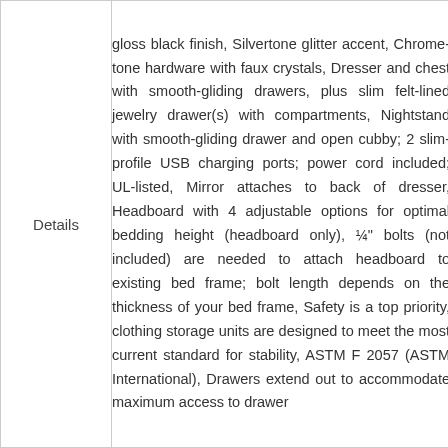| Label | Content |
| --- | --- |
| Details | gloss black finish, Silvertone glitter accent, Chrome-tone hardware with faux crystals, Dresser and chest with smooth-gliding drawers, plus slim felt-lined jewelry drawer(s) with compartments, Nightstand with smooth-gliding drawer and open cubby; 2 slim-profile USB charging ports; power cord included; UL-listed, Mirror attaches to back of dresser, Headboard with 4 adjustable options for optimal bedding height (headboard only), ¼" bolts (not included) are needed to attach headboard to existing bed frame; bolt length depends on the thickness of your bed frame, Safety is a top priority, clothing storage units are designed to meet the most current standard for stability, ASTM F 2057 (ASTM International), Drawers extend out to accommodate maximum access to drawer |